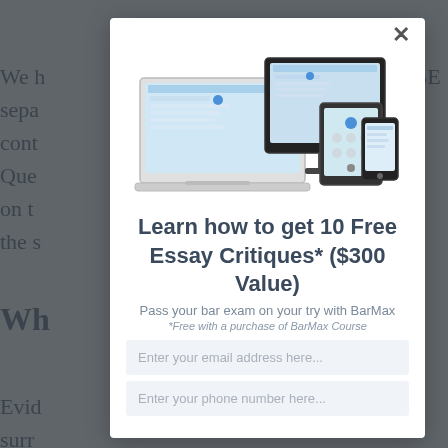[Figure (screenshot): Modal popup over a dimmed webpage background. The modal shows devices (laptop, desktop monitor, tablet, phone) and a promotional offer for BarMax bar exam prep.]
Learn how to get 10 Free Essay Critiques* ($300 Value)
Pass your bar exam on your try with BarMax
*Free with a purchase of BarMax Course
Enter your email address here...
Enter your phone number here...